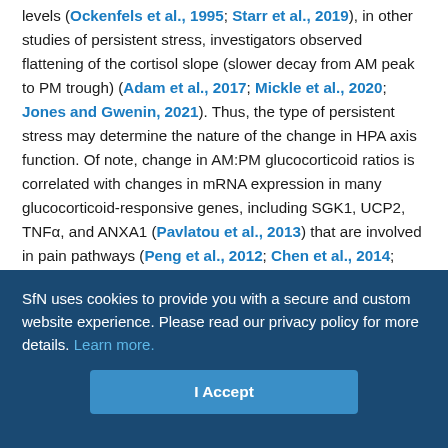levels (Ockenfels et al., 1995; Starr et al., 2019), in other studies of persistent stress, investigators observed flattening of the cortisol slope (slower decay from AM peak to PM trough) (Adam et al., 2017; Mickle et al., 2020; Jones and Gwenin, 2021). Thus, the type of persistent stress may determine the nature of the change in HPA axis function. Of note, change in AM:PM glucocorticoid ratios is correlated with changes in mRNA expression in many glucocorticoid-responsive genes, including SGK1, UCP2, TNFα, and ANXA1 (Pavlatou et al., 2013) that are involved in pain pathways (Peng et al., 2012; Chen et al., 2014; Makker et al., 2017; Wu and Chen, 2019).
It has been hypothesized that pain associated with paclitaxel- and
SfN uses cookies to provide you with a secure and custom website experience. Please read our privacy policy for more details. Learn more.